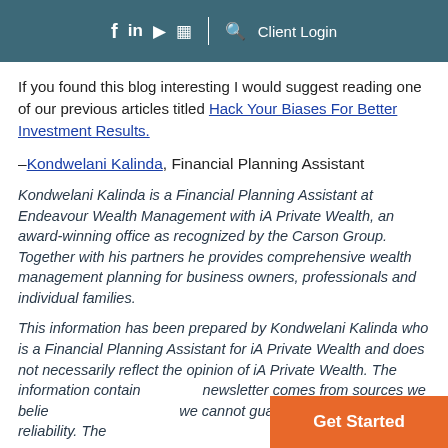f in ▶ ☷ | 🔍 Client Login
If you found this blog interesting I would suggest reading one of our previous articles titled Hack Your Biases For Better Investment Results.
–Kondwelani Kalinda, Financial Planning Assistant
Kondwelani Kalinda is a Financial Planning Assistant at Endeavour Wealth Management with iA Private Wealth, an award-winning office as recognized by the Carson Group. Together with his partners he provides comprehensive wealth management planning for business owners, professionals and individual families.
This information has been prepared by Kondwelani Kalinda who is a Financial Planning Assistant for iA Private Wealth and does not necessarily reflect the opinion of iA Private Wealth. The information contained in this newsletter comes from sources we believe to be reliable but we cannot guarantee its accuracy or reliability. The